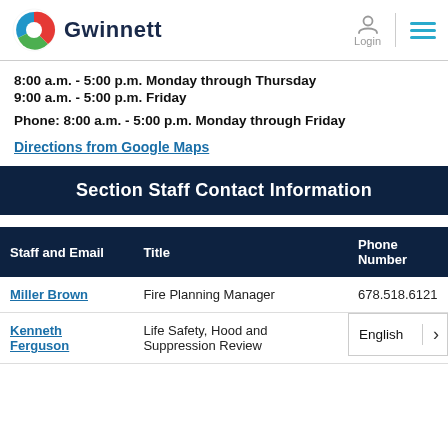Gwinnett
8:00 a.m. - 5:00 p.m. Monday through Thursday
9:00 a.m. - 5:00 p.m. Friday
Phone: 8:00 a.m. - 5:00 p.m. Monday through Friday
Directions from Google Maps
Section Staff Contact Information
| Staff and Email | Title | Phone Number |
| --- | --- | --- |
| Miller Brown | Fire Planning Manager | 678.518.6121 |
| Kenneth Ferguson | Life Safety, Hood and Suppression Review |  |